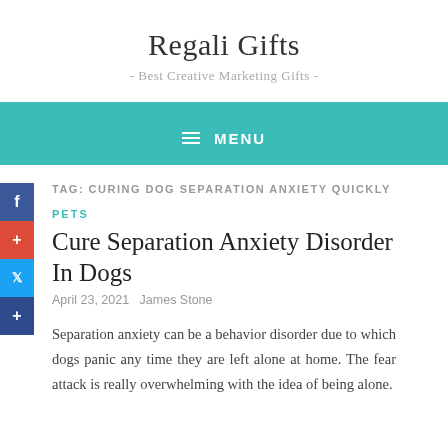Regali Gifts
- Best Creative Marketing Gifts -
MENU
TAG: CURING DOG SEPARATION ANXIETY QUICKLY
PETS
Cure Separation Anxiety Disorder In Dogs
April 23, 2021   James Stone
Separation anxiety can be a behavior disorder due to which dogs panic any time they are left alone at home. The fear attack is really overwhelming with the idea of being alone.